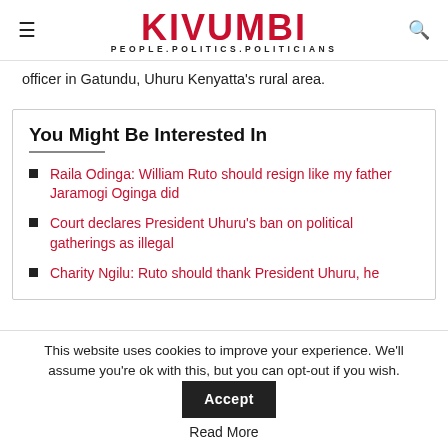KIVUMBI PEOPLE.POLITICS.POLITICIANS
officer in Gatundu, Uhuru Kenyatta's rural area.
You Might Be Interested In
Raila Odinga: William Ruto should resign like my father Jaramogi Oginga did
Court declares President Uhuru's ban on political gatherings as illegal
Charity Ngilu: Ruto should thank President Uhuru, he
This website uses cookies to improve your experience. We'll assume you're ok with this, but you can opt-out if you wish.
Read More